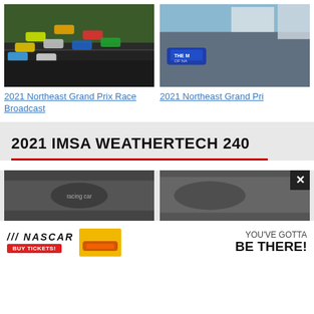[Figure (photo): Multiple racing cars on a circuit track, colorful liveries including green, yellow, red, and blue cars during a race]
2021 Northeast Grand Prix Race Broadcast
[Figure (photo): Racing car (blue) on a circuit track, partially cropped]
2021 Northeast Grand Pri
2021 IMSA WEATHERTECH 240
[Figure (photo): Racing car on track, bottom section partially visible]
[Figure (photo): Racing car on track, partially visible, right side]
[Figure (advertisement): NASCAR advertisement - YOU'VE GOTTA BE THERE! with Buy Tickets button and car graphic]